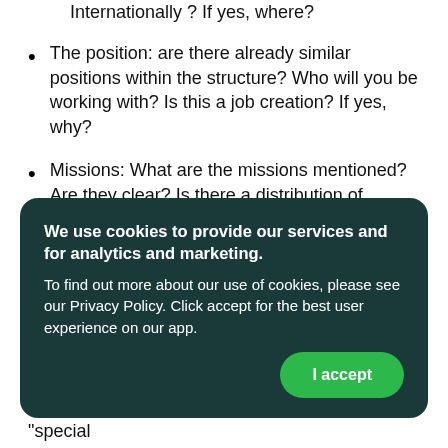Internationally ? If yes, where?
The position: are there already similar positions within the structure? Who will you be working with? Is this a job creation? If yes, why?
Missions: What are the missions mentioned? Are they clear? Is there a distribution of working time between the different missions that make up the offer?
The requested profile: what training and what level of education? Are there any specific professional or
repetitions, emphasis ("it is necessary to…" "special
[Figure (other): Cookie consent banner with dark teal background, bold white text reading 'We use cookies to provide our services and for analytics and marketing.' followed by body text and a green 'I accept' button.]